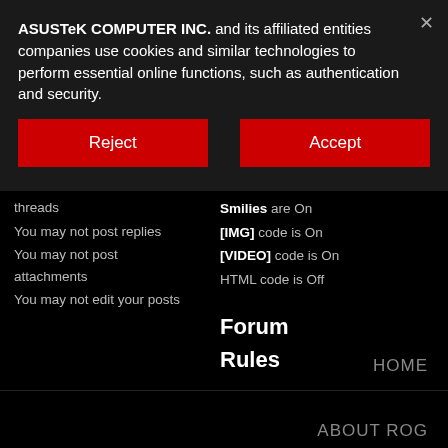ASUSTeK COMPUTER INC. and its affiliated entities companies use cookies and similar technologies to perform essential online functions, such as authentication and security.
Reject
Accept
threads
You may not post replies
You may not post attachments
You may not edit your posts
Smilies are On
[IMG] code is On
[VIDEO] code is On
HTML code is Off
Forum Rules
HOME
ABOUT ROG